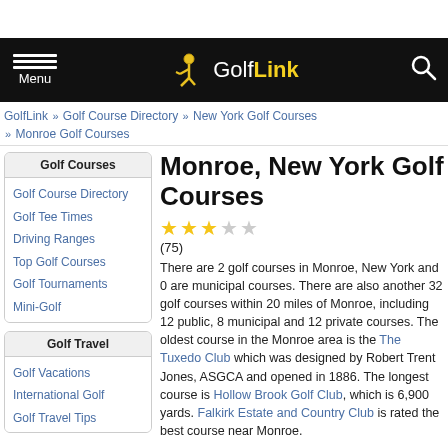GolfLink - Menu / Search
GolfLink >> Golf Course Directory >> New York Golf Courses >> Monroe Golf Courses
Golf Courses
Golf Course Directory
Golf Tee Times
Driving Ranges
Top Golf Courses
Golf Tournaments
Mini-Golf
Golf Travel
Golf Vacations
International Golf
Golf Travel Tips
Monroe, New York Golf Courses
(75)
There are 2 golf courses in Monroe, New York and 0 are municipal courses. There are also another 32 golf courses within 20 miles of Monroe, including 12 public, 8 municipal and 12 private courses. The oldest course in the Monroe area is the The Tuxedo Club which was designed by Robert Trent Jones, ASGCA and opened in 1886. The longest course is Hollow Brook Golf Club, which is 6,900 yards. Falkirk Estate and Country Club is rated the best course near Monroe.